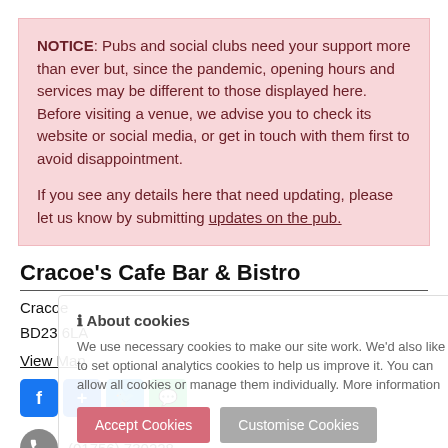NOTICE: Pubs and social clubs need your support more than ever but, since the pandemic, opening hours and services may be different to those displayed here. Before visiting a venue, we advise you to check its website or social media, or get in touch with them first to avoid disappointment. If you see any details here that need updating, please let us know by submitting updates on the pub.
Cracoe's Cafe Bar & Bistro
Cracoe
BD23 6LA
View Map
Social share icons: Facebook, Share, Twitter, WhatsApp
(01756) 730228
cracoes.co.uk/
About cookies. We use necessary cookies to make our site work. We'd also like to set optional analytics cookies to help us improve it. You can allow all cookies or manage them individually. More information
Accept Cookies | Customise Cookies